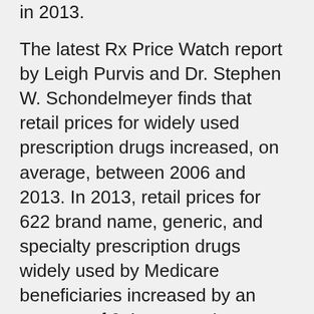in 2013.
The latest Rx Price Watch report by Leigh Purvis and Dr. Stephen W. Schondelmeyer finds that retail prices for widely used prescription drugs increased, on average, between 2006 and 2013. In 2013, retail prices for 622 brand name, generic, and specialty prescription drugs widely used by Medicare beneficiaries increased by an average of 9.4 percent. In contrast, the general inflation rate was 1.5 percent over the same period.
Increases in the retail price of specialty prescription drugs have a corresponding impact on the